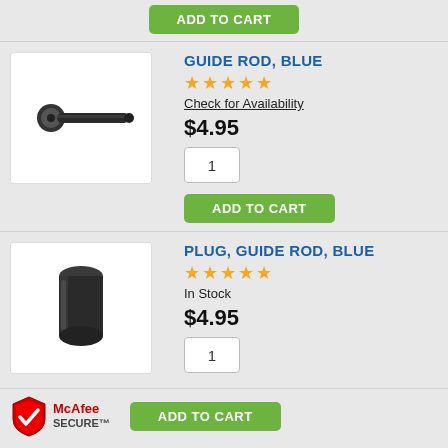[Figure (other): Green ADD TO CART button at top of page]
[Figure (photo): Product photo of a black screw/bolt (Guide Rod, Blue)]
GUIDE ROD, BLUE
[Figure (other): 5 gold star rating icons]
Check for Availability
$4.95
1
[Figure (other): Green ADD TO CART button]
[Figure (photo): Product photo of a black cylindrical plug (Plug, Guide Rod, Blue)]
PLUG, GUIDE ROD, BLUE
[Figure (other): 5 gold star rating icons]
In Stock
$4.95
1
[Figure (logo): McAfee SECURE logo]
[Figure (other): Green ADD TO CART button]